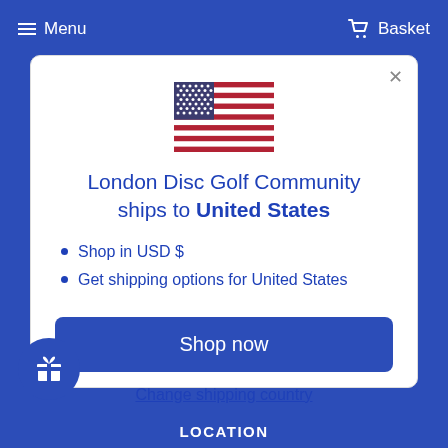Menu   Basket
[Figure (illustration): United States flag emoji / icon]
London Disc Golf Community ships to United States
Shop in USD $
Get shipping options for United States
Shop now
Change shipping country
LOCATION